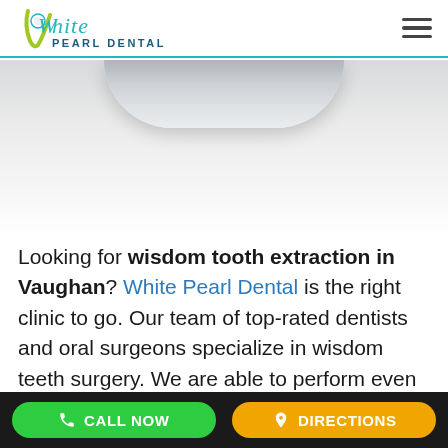White Pearl Dental – navigation header with logo and hamburger menu
[Figure (photo): Hero image area showing a metallic bowl/dental instrument shape at the top]
Looking for wisdom tooth extraction in Vaughan? White Pearl Dental is the right clinic to go. Our team of top-rated dentists and oral surgeons specialize in wisdom teeth surgery. We are able to perform even the most complex wisdom teeth
CALL NOW | DIRECTIONS